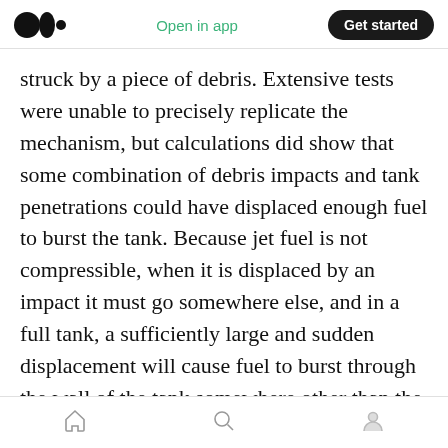Medium app header: logo | Open in app | Get started
struck by a piece of debris. Extensive tests were unable to precisely replicate the mechanism, but calculations did show that some combination of debris impacts and tank penetrations could have displaced enough fuel to burst the tank. Because jet fuel is not compressible, when it is displaced by an impact it must go somewhere else, and in a full tank, a sufficiently large and sudden displacement will cause fuel to burst through the wall of the tank somewhere other than the point of entry. This was almost certainly what caused the main fuel leak aboard flight 4590.
Home | Search | Profile